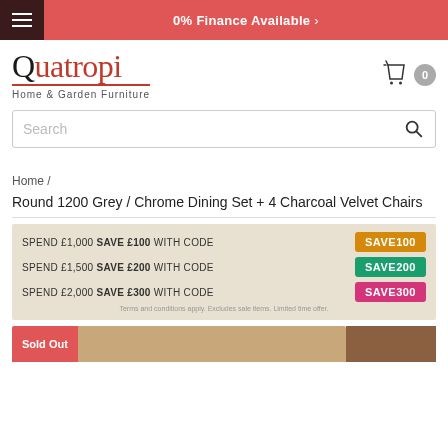0% Finance Available >
[Figure (logo): Quatropi Home & Garden Furniture logo]
Search
Home /
Round 1200 Grey / Chrome Dining Set + 4 Charcoal Velvet Chairs
SPEND £1,000 SAVE £100 WITH CODE SAVE100
SPEND £1,500 SAVE £200 WITH CODE SAVE200
SPEND £2,000 SAVE £300 WITH CODE SAVE300
Sold Out